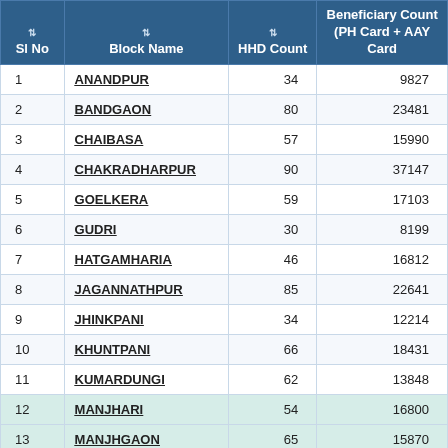| Sl No | Block Name | HHD Count | Beneficiary Count (PH Card + AAY Card |
| --- | --- | --- | --- |
| 1 | ANANDPUR | 34 | 9827 |
| 2 | BANDGAON | 80 | 23481 |
| 3 | CHAIBASA | 57 | 15990 |
| 4 | CHAKRADHARPUR | 90 | 37147 |
| 5 | GOELKERA | 59 | 17103 |
| 6 | GUDRI | 30 | 8199 |
| 7 | HATGAMHARIA | 46 | 16812 |
| 8 | JAGANNATHPUR | 85 | 22641 |
| 9 | JHINKPANI | 34 | 12214 |
| 10 | KHUNTPANI | 66 | 18431 |
| 11 | KUMARDUNGI | 62 | 13848 |
| 12 | MANJHARI | 54 | 16800 |
| 13 | MANJHGAON | 65 | 15870 |
| 14 | MANOHARPUR | 82 | 20512 |